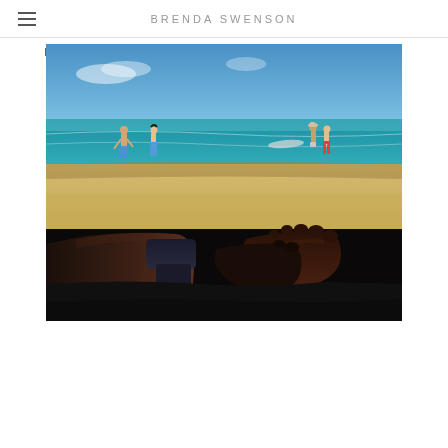BRENDA SWENSON
[Figure (photo): Beach scene viewed from a lounger perspective — person's legs and feet in foreground, sandy beach with several people standing near the water, turquoise ocean and blue sky in the background.]
Author
I am Brenda Swenson and sometimes I blog.